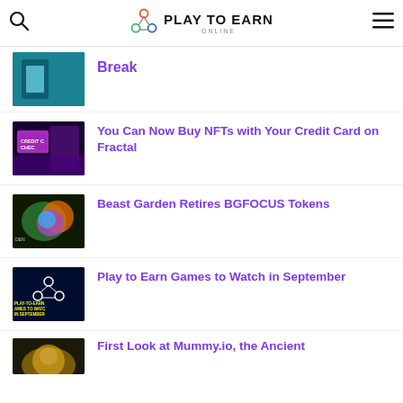Play to Earn Online
Break
You Can Now Buy NFTs with Your Credit Card on Fractal
Beast Garden Retires BGFOCUS Tokens
Play to Earn Games to Watch in September
First Look at Mummy.io, the Ancient